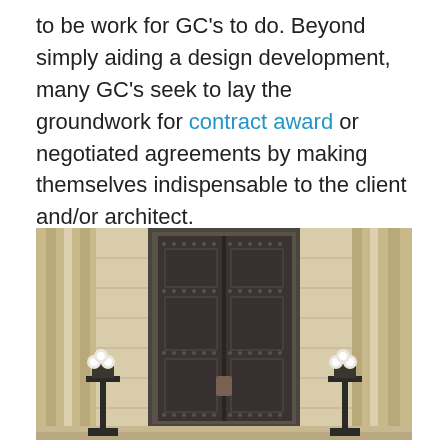to be work for GC's to do. Beyond simply aiding a design development, many GC's seek to lay the groundwork for contract award or negotiated agreements by making themselves indispensable to the client and/or architect.
[Figure (photo): Photograph of a large ornate dark bronze double door on a classical stone building facade with tall fluted stone columns on either side and decorative multi-globe lamp posts flanking the entrance.]